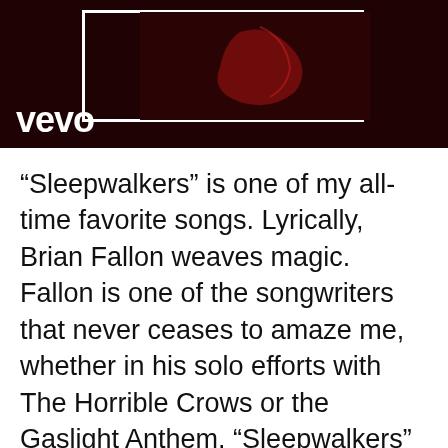[Figure (screenshot): Vevo video thumbnail showing a dark red-toned image with a white border rectangle and the Vevo logo in white text at the bottom left on a very dark maroon background]
“Sleepwalkers” is one of my all-time favorite songs. Lyrically, Brian Fallon weaves magic. Fallon is one of the songwriters that never ceases to amaze me, whether in his solo efforts with The Horrible Crows or the Gaslight Anthem. “Sleepwalkers” is a song about a conversation a son has with his mother to gain a little perspective.
You see, he’s been having these visions